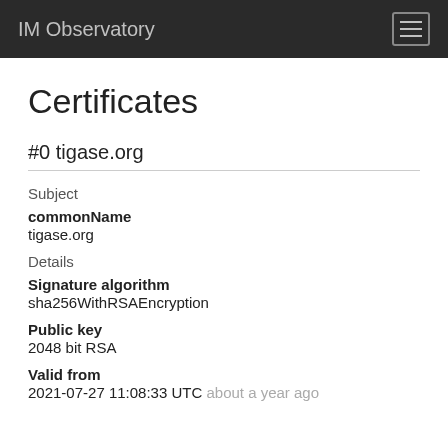IM Observatory
Certificates
#0 tigase.org
Subject
commonName
tigase.org
Details
Signature algorithm
sha256WithRSAEncryption
Public key
2048 bit RSA
Valid from
2021-07-27 11:08:33 UTC about a year ago